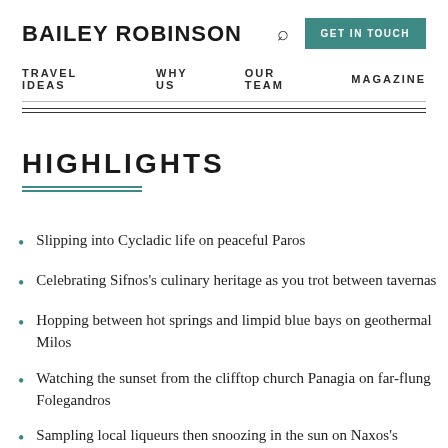BAILEY ROBINSON | TRAVEL IDEAS | WHY US | OUR TEAM | MAGAZINE | GET IN TOUCH
HIGHLIGHTS
Slipping into Cycladic life on peaceful Paros
Celebrating Sifnos's culinary heritage as you trot between tavernas
Hopping between hot springs and limpid blue bays on geothermal Milos
Watching the sunset from the clifftop church Panagia on far-flung Folegandros
Sampling local liqueurs then snoozing in the sun on Naxos's